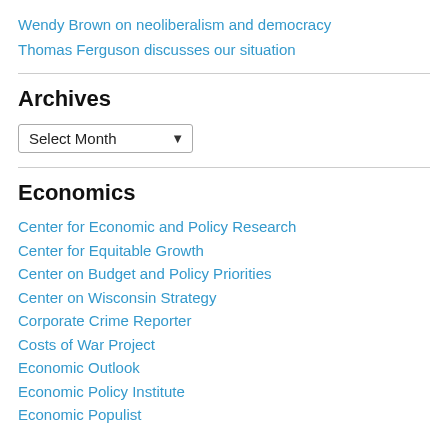Wendy Brown on neoliberalism and democracy
Thomas Ferguson discusses our situation
Archives
Select Month [dropdown]
Economics
Center for Economic and Policy Research
Center for Equitable Growth
Center on Budget and Policy Priorities
Center on Wisconsin Strategy
Corporate Crime Reporter
Costs of War Project
Economic Outlook
Economic Policy Institute
Economic Populist